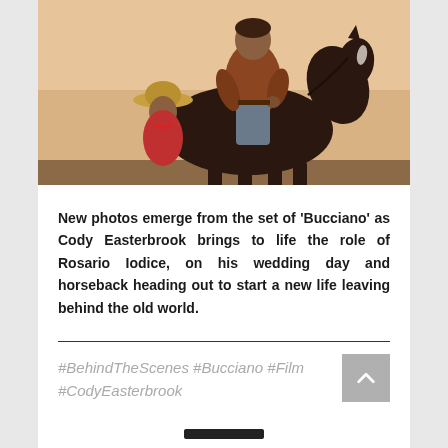[Figure (photo): Photo from the set of 'Bucciano' showing a man on horseback in western attire with a woman in a hat visible in the background, warm desert/sunset lighting]
New photos emerge from the set of 'Bucciano' as Cody Easterbrook brings to life the role of Rosario Iodice, on his wedding day and horseback heading out to start a new life leaving behind the old world.
#BehindTheScenes #Bucciano #Film #CodyEasterbrook